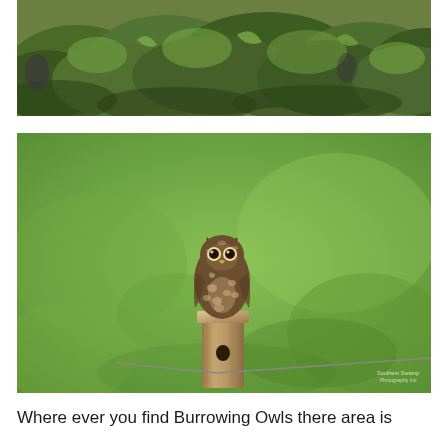[Figure (photo): Close-up photograph of dense green foliage and grass vegetation from above]
[Figure (photo): A burrowing owl perched on top of an old wooden fence post in a green grassy field. The owl has brown and white speckled plumage and is looking at the camera. A watermark from a photography studio is visible in the bottom right corner.]
Where ever you find Burrowing Owls there area is